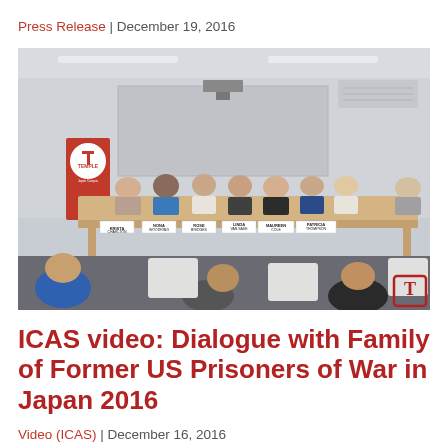Press Release | December 19, 2016
[Figure (photo): A conference room panel with several elderly women seated at a long table with name placards reading: Krista Charlton, Nona Woodring, Rose Bridges, Linda Van Sike, Maureen Cole, Patricia Thompson. A Temple University banner is visible in the background. Audience members are seated facing the panel.]
ICAS video: Dialogue with Family of Former US Prisoners of War in Japan 2016
Video (ICAS) | December 16, 2016